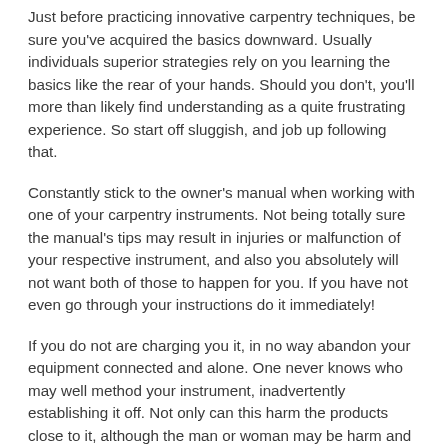Just before practicing innovative carpentry techniques, be sure you've acquired the basics downward. Usually individuals superior strategies rely on you learning the basics like the rear of your hands. Should you don't, you'll more than likely find understanding as a quite frustrating experience. So start off sluggish, and job up following that.
Constantly stick to the owner's manual when working with one of your carpentry instruments. Not being totally sure the manual's tips may result in injuries or malfunction of your respective instrument, and also you absolutely will not want both of those to happen for you. If you have not even go through your instructions do it immediately!
If you do not are charging you it, in no way abandon your equipment connected and alone. One never knows who may well method your instrument, inadvertently establishing it off. Not only can this harm the products close to it, although the man or woman may be harm and you can be still left liable